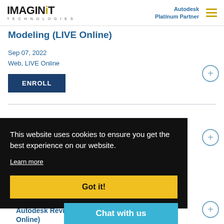IMAGINiT TECHNOLOGIES | Autodesk Platinum Partner
Modeling (LIVE Online)
Sep 07, 2022
Web, LIVE Online
ENROLL
This website uses cookies to ensure you get the best experience on our website.
Learn more
Got it!
Chat with us
Autodesk Revi... igh (LIVE Online)